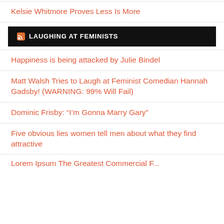Kelsie Whitmore Proves Less Is More
[Figure (other): RSS feed banner with black background reading 'LAUGHING AT FEMINISTS' with RSS icon]
Happiness is being attacked by Julie Bindel
Matt Walsh Tries to Laugh at Feminist Comedian Hannah Gadsby! (WARNING: 99% Will Fail)
Dominic Frisby: “I’m Gonna Marry Gary”
Five obvious lies women tell men about what they find attractive
Lorem Ipsum The Greatest Commercial F...